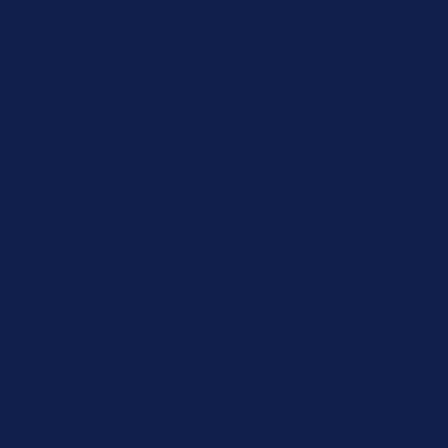further so erred in failing to find that there was no intention to reside in Ireland on a continuous basis.
10. ….
11. To the extent that the learned trial judge